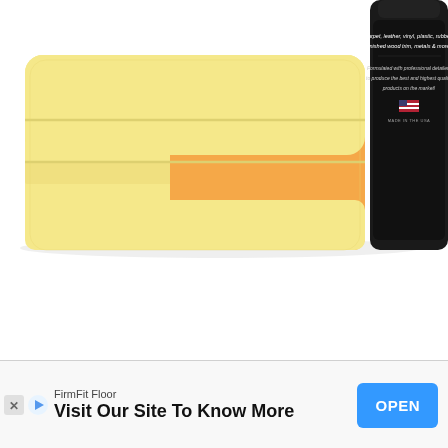[Figure (photo): A folded yellow microfiber towel next to a dark/black bottle of automotive detailing product. The bottle label reads: 'carpet, leather, vinyl, plastic, rubber, finished wood trim, metals & more!' and 'Formulated with professional detailers to produce the best and highest quality products on the market!' with a 'MADE IN THE USA' flag emblem. White background.]
[Figure (infographic): Advertisement banner at bottom of page for FirmFit Floor. Shows brand name 'FirmFit Floor', tagline 'Visit Our Site To Know More', and an 'OPEN' button in blue. Also shows small X and play/ad icons on the left side.]